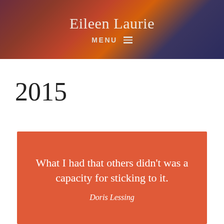Eileen Laurie
2015
[Figure (illustration): Orange/coral colored quote card with white text reading 'What I had that others didn't was a capacity for sticking to it.' attributed to Doris Lessing]